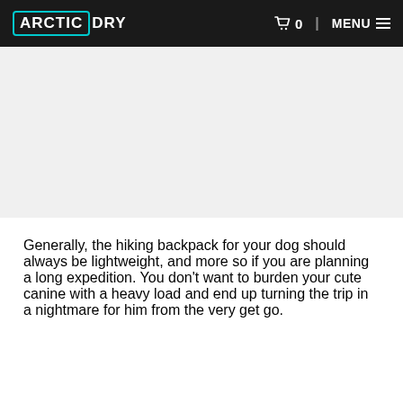ARCTIC DRY  🛒 0 | MENU
[Figure (photo): Image placeholder area below the navigation header, showing a white/light gray empty space where a photo would appear.]
Generally, the hiking backpack for your dog should always be lightweight, and more so if you are planning a long expedition. You don't want to burden your cute canine with a heavy load and end up turning the trip in a nightmare for him from the very get go.